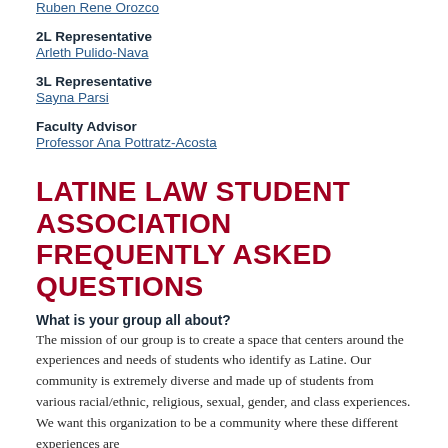Ruben Rene Orozco
2L Representative
Arleth Pulido-Nava
3L Representative
Sayna Parsi
Faculty Advisor
Professor Ana Pottratz-Acosta
LATINE LAW STUDENT ASSOCIATION FREQUENTLY ASKED QUESTIONS
What is your group all about?
The mission of our group is to create a space that centers around the experiences and needs of students who identify as Latine. Our community is extremely diverse and made up of students from various racial/ethnic, religious, sexual, gender, and class experiences. We want this organization to be a community where these different experiences are